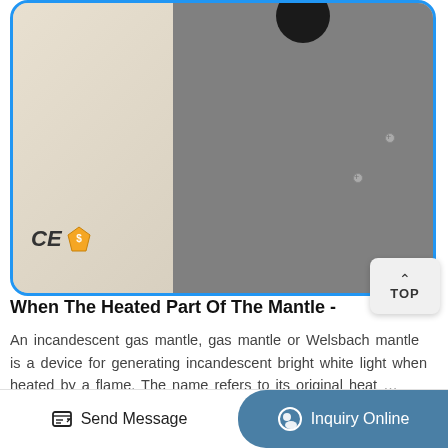[Figure (photo): Close-up photo of a heating mantle device showing a beige/cream left panel with CE mark and gold safety badge, and a dark gray right panel with a black knob at top and two visible screws. Blue rounded border surrounds the image.]
When The Heated Part Of The Mantle -
An incandescent gas mantle, gas mantle or Welsbach mantle is a device for generating incandescent bright white light when heated by a flame. The name refers to its original heat …
Send Message
Inquiry Online